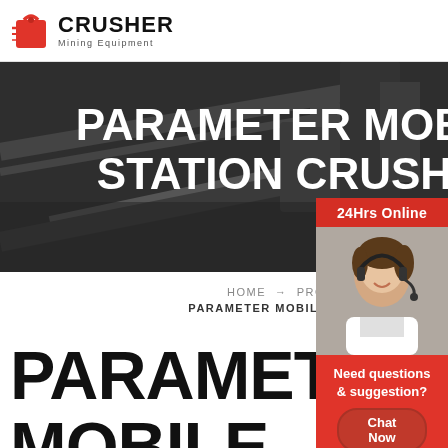[Figure (logo): Crusher Mining Equipment logo with red shopping bag icon and bold black CRUSHER text]
[Figure (photo): Dark industrial mining conveyor belt equipment hero image with large white bold text overlay reading PARAMETER MOBILE STATION CRUSHER]
HOME → PRODUCT →
PARAMETER MOBILE STATION CRU
PARAMETER
MOBILE
[Figure (photo): Right sidebar panel in red with 24Hrs Online label, photo of smiling female headset operator, Need questions & suggestion text, Chat Now button, Enquiry text, and superbrian707@gmail.com email]